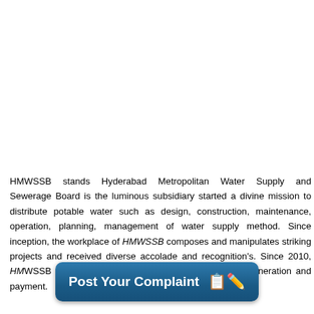HMWSSB stands Hyderabad Metropolitan Water Supply and Sewerage Board is the luminous subsidiary started a divine mission to distribute potable water such as design, construction, maintenance, operation, planning, management of water supply method. Since inception, the workplace of HMWSSB composes and manipulates striking projects and received diverse accolade and recognition's. Since 2010, HMWSSB received Urban Water Award for Online Bill Generation and payment
[Figure (other): A dark blue rounded button/banner reading 'Post Your Complaint' with a notepad and pencil emoji icon]